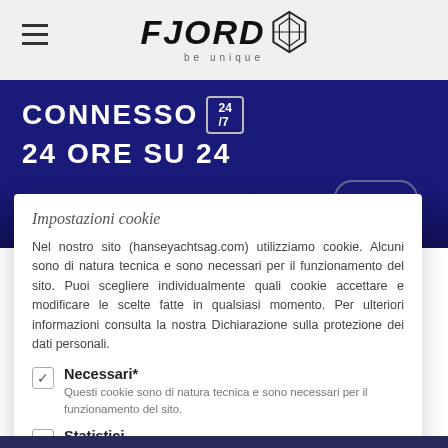FJORD — be unique
[Figure (screenshot): Dark navy blue banner with white text reading CONNESSO 24/7 24 ORE SU 24 and a small badge icon]
Impostazioni cookie
Nel nostro sito (hanseyachtsag.com) utilizziamo cookie. Alcuni sono di natura tecnica e sono necessari per il funzionamento del sito. Puoi scegliere individualmente quali cookie accettare e modificare le scelte fatte in qualsiasi momento. Per ulteriori informazioni consulta la nostra Dichiarazione sulla protezione dei dati personali.
Necessari* — Questi cookie sono di natura tecnica e sono necessari per il funzionamento del sito.
Statistici — Raccogliamo dati statistici per migliorare costantemente l'offerta per i nostri utenti.
Comfort (ad es. Google Maps) — La tue impostazioni hanno una durata di 30 giorni.